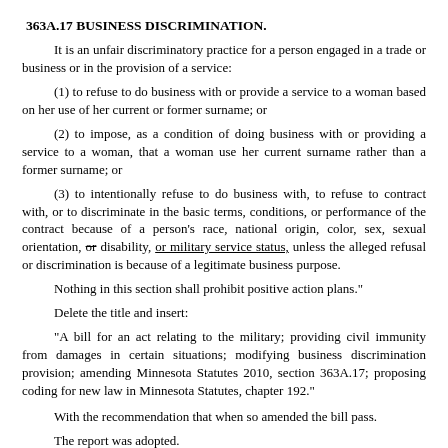363A.17 BUSINESS DISCRIMINATION.
It is an unfair discriminatory practice for a person engaged in a trade or business or in the provision of a service:
(1) to refuse to do business with or provide a service to a woman based on her use of her current or former surname; or
(2) to impose, as a condition of doing business with or providing a service to a woman, that a woman use her current surname rather than a former surname; or
(3) to intentionally refuse to do business with, to refuse to contract with, or to discriminate in the basic terms, conditions, or performance of the contract because of a person's race, national origin, color, sex, sexual orientation, or [strikethrough] disability, or military service status [underline], unless the alleged refusal or discrimination is because of a legitimate business purpose.
Nothing in this section shall prohibit positive action plans."
Delete the title and insert:
"A bill for an act relating to the military; providing civil immunity from damages in certain situations; modifying business discrimination provision; amending Minnesota Statutes 2010, section 363A.17; proposing coding for new law in Minnesota Statutes, chapter 192."
With the recommendation that when so amended the bill pass.
The report was adopted.
Shimanski from the Committee on Judiciary Policy and Finance to which was referred: